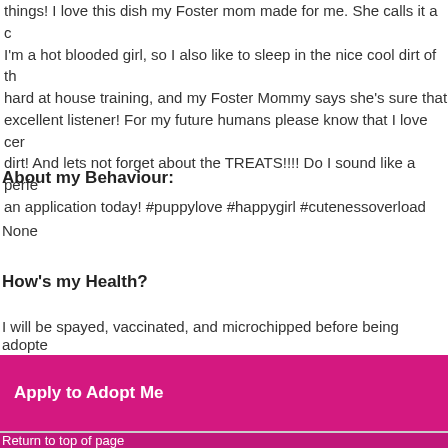things! I love this dish my Foster mom made for me. She calls it a c I'm a hot blooded girl, so I also like to sleep in the nice cool dirt of th hard at house training, and my Foster Mommy says she's sure that excellent listener! For my future humans please know that I love cer dirt! And lets not forget about the TREATS!!!! Do I sound like a perfe an application today! #puppylove #happygirl #cutenessoverload
About my Behaviour:
None
How's my Health?
I will be spayed, vaccinated, and microchipped before being adopte
Apply to Adopt Me
Return to top of page